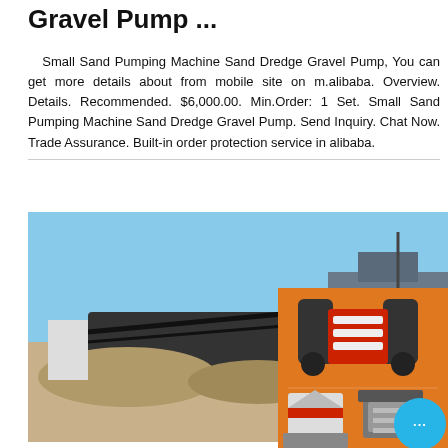Gravel Pump ...
Small Sand Pumping Machine Sand Dredge Gravel Pump, You can get more details about from mobile site on m.alibaba. Overview. Details. Recommended. $6,000.00. Min.Order: 1 Set. Small Sand Pumping Machine Sand Dredge Gravel Pump. Send Inquiry. Chat Now. Trade Assurance. Built-in order protection service in alibaba.
[Figure (photo): Photo of a sand/gravel processing facility with conveyor belts and machinery outdoors.]
[Figure (photo): Photo of sand pumping machinery with orange hose and industrial equipment.]
[Figure (infographic): Orange sidebar advertisement showing crushing/mining machines, a chat bubble, 'Enjoy 3% discount', 'Click to Chat', and 'Enquiry' buttons.]